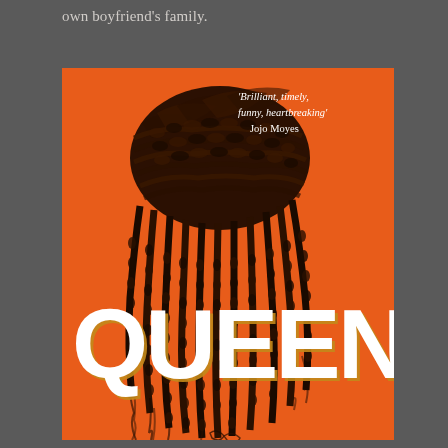own boyfriend’s family.
[Figure (illustration): Book cover of 'Queenie' by Candice Carty-Williams. Orange background with a detailed illustration of a Black woman's braided hair styled in an updo (box braids). The title 'QUEENIE' is displayed in large bold white letters with a golden shadow across the lower portion of the cover. A pull quote in white italic text in the upper right reads: 'Brilliant, timely, funny, heartbreaking' Jojo Moyes.]